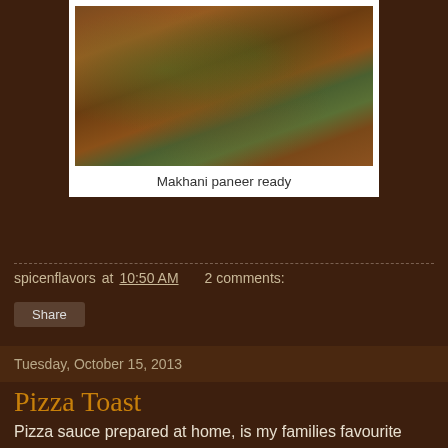[Figure (photo): Photo of Makhani paneer dish, a reddish-brown curry with green herb garnish on top, shown in a white-bordered photo frame]
Makhani paneer ready
spicenflavors at 10:50 AM   2 comments:
Share
Tuesday, October 15, 2013
Pizza Toast
Pizza sauce prepared at home, is my families favourite sauce ,my kids can eat this sauce by itself...